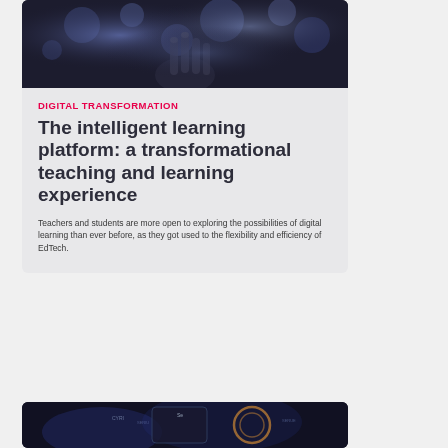[Figure (photo): Dark background photo showing a hand making a gesture with bokeh light effects]
DIGITAL TRANSFORMATION
The intelligent learning platform: a transformational teaching and learning experience
Teachers and students are more open to exploring the possibilities of digital learning than ever before, as they got used to the flexibility and efficiency of EdTech.
[Figure (photo): Dark photo showing a digital device screen with text and circular graphic elements]